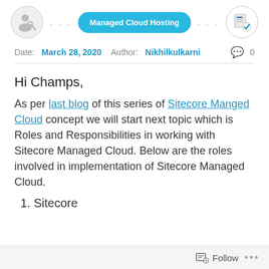[Figure (infographic): Navigation icon row with person/wrench icon, ellipsis, Managed Cloud Hosting pill button (blue), ellipsis, and document/checklist icon]
Date: March 28, 2020  Author: Nikhilkulkarni  💬 0
Hi Champs,
As per last blog of this series of Sitecore Manged Cloud concept we will start next topic which is Roles and Responsibilities in working with Sitecore Managed Cloud. Below are the roles involved in implementation of Sitecore Managed Cloud.
1. Sitecore
Follow  ...